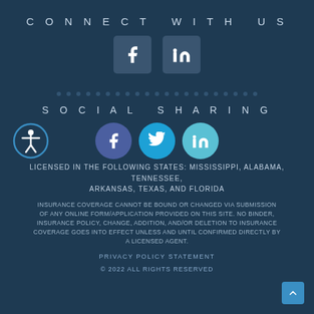CONNECT WITH US
[Figure (illustration): Facebook and LinkedIn icon boxes for social media connect links]
[Figure (illustration): Dotted horizontal divider line]
SOCIAL SHARING
[Figure (illustration): Accessibility icon on left, Facebook, Twitter, LinkedIn circular social sharing icons]
LICENSED IN THE FOLLOWING STATES: MISSISSIPPI, ALABAMA, TENNESSEE, ARKANSAS, TEXAS, AND FLORIDA
INSURANCE COVERAGE CANNOT BE BOUND OR CHANGED VIA SUBMISSION OF ANY ONLINE FORM/APPLICATION PROVIDED ON THIS SITE. NO BINDER, INSURANCE POLICY, CHANGE, ADDITION, AND/OR DELETION TO INSURANCE COVERAGE GOES INTO EFFECT UNLESS AND UNTIL CONFIRMED DIRECTLY BY A LICENSED AGENT.
PRIVACY POLICY STATEMENT
© 2022 ALL RIGHTS RESERVED